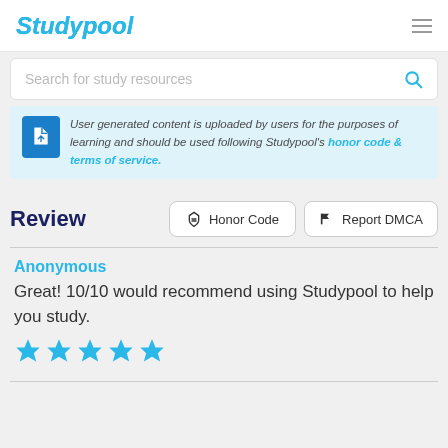Studypool
Search for study resources
User generated content is uploaded by users for the purposes of learning and should be used following Studypool's honor code & terms of service.
Review
Honor Code
Report DMCA
Anonymous
Great! 10/10 would recommend using Studypool to help you study.
[Figure (other): Five blue star rating icons]